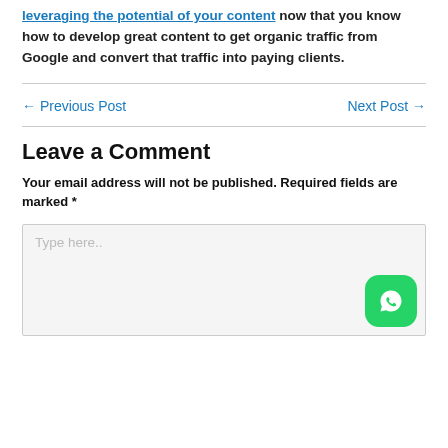leveraging the potential of your content now that you know how to develop great content to get organic traffic from Google and convert that traffic into paying clients.
← Previous Post    Next Post →
Leave a Comment
Your email address will not be published. Required fields are marked *
Type here..